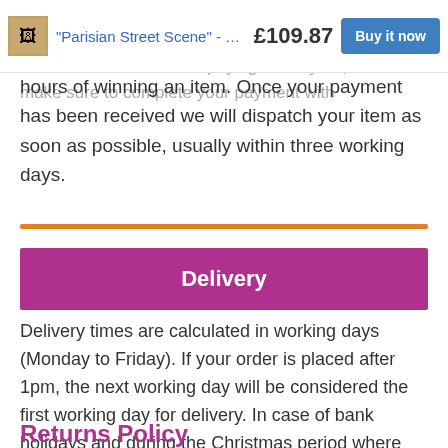"Parisian Street Scene" - origina  £109.87  Buy it now
item is to be collected. If paying via PayPal, make sure to complete your payment with
hours of winning an item. Once your payment has been received we will dispatch your item as soon as possible, usually within three working days.
Delivery
Delivery times are calculated in working days (Monday to Friday). If your order is placed after 1pm, the next working day will be considered the first working day for delivery. In case of bank holidays and during the Christmas period where delays are more likely, please allow an extra few days for delivery.
Returns Policy